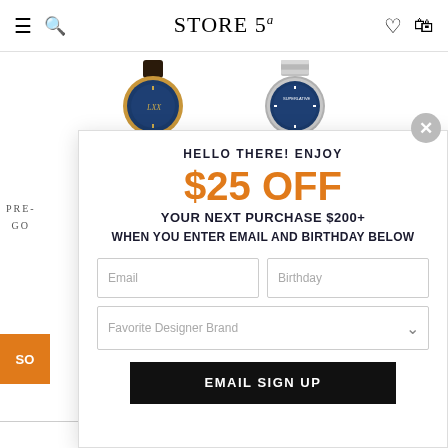STORE 5a
[Figure (photo): Two luxury watches with blue faces shown from above, one with a gold/rose-gold bezel, one with a silver/steel bezel]
PRE-
GO
HELLO THERE! ENJOY
$25 OFF
YOUR NEXT PURCHASE $200+
WHEN YOU ENTER EMAIL AND BIRTHDAY BELOW
Email
Birthday
Favorite Designer Brand
EMAIL SIGN UP